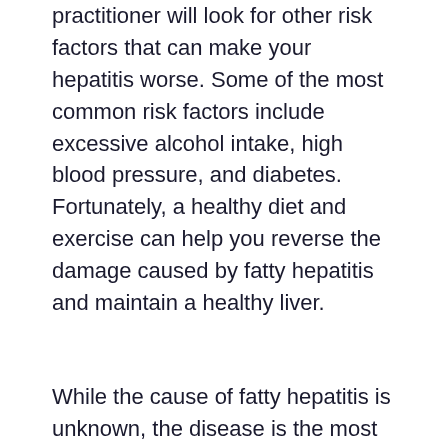practitioner will look for other risk factors that can make your hepatitis worse. Some of the most common risk factors include excessive alcohol intake, high blood pressure, and diabetes. Fortunately, a healthy diet and exercise can help you reverse the damage caused by fatty hepatitis and maintain a healthy liver.
While the cause of fatty hepatitis is unknown, the disease is the most common type of liver disease in children and adults. It's not always a life-threatening condition, but it can lead to more serious liver conditions. Luckily, there are many treatment options and lifestyle changes that can slow the progression of fatty hepatitis. A child with fatty hepatitis should work with a dietitian and